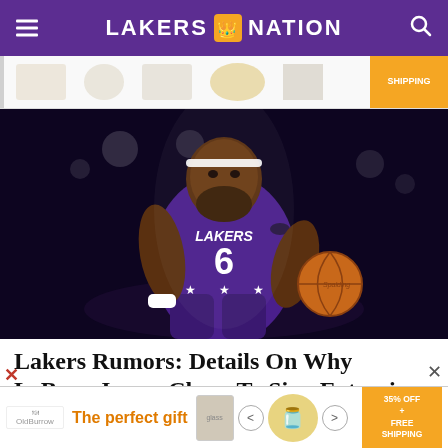LAKERS NATION
[Figure (photo): Banner advertisement with product images and SHIPPING badge]
[Figure (photo): LeBron James wearing Los Angeles Lakers purple jersey number 6, dribbling a basketball in a dark arena]
Lakers Rumors: Details On Why LeBron James Chose To Sign Extension Now
Los Angeles Lakers star LeBron James reportedly
[Figure (photo): Bottom advertisement banner: The perfect gift - 35% OFF + FREE SHIPPING]